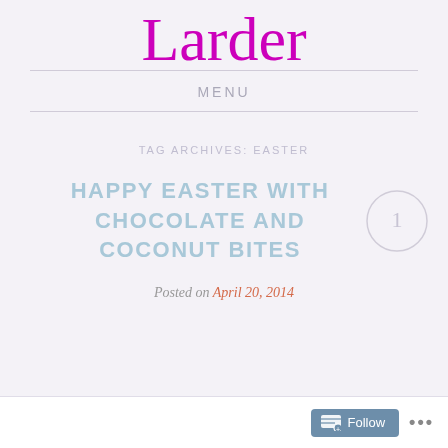Larder
MENU
TAG ARCHIVES: EASTER
HAPPY EASTER WITH CHOCOLATE AND COCONUT BITES
Posted on April 20, 2014
Follow ...